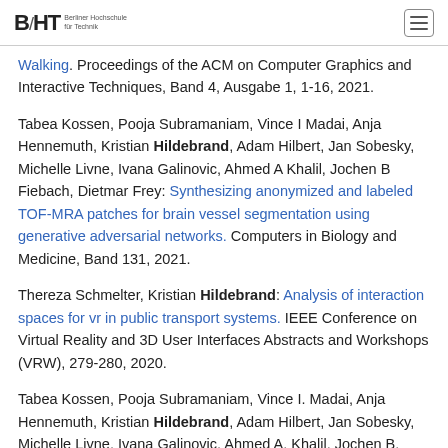BHT Berliner Hochschule für Technik
Walking. Proceedings of the ACM on Computer Graphics and Interactive Techniques, Band 4, Ausgabe 1, 1-16, 2021.
Tabea Kossen, Pooja Subramaniam, Vince I Madai, Anja Hennemuth, Kristian Hildebrand, Adam Hilbert, Jan Sobesky, Michelle Livne, Ivana Galinovic, Ahmed A Khalil, Jochen B Fiebach, Dietmar Frey: Synthesizing anonymized and labeled TOF-MRA patches for brain vessel segmentation using generative adversarial networks. Computers in Biology and Medicine, Band 131, 2021.
Thereza Schmelter, Kristian Hildebrand: Analysis of interaction spaces for vr in public transport systems. IEEE Conference on Virtual Reality and 3D User Interfaces Abstracts and Workshops (VRW), 279-280, 2020.
Tabea Kossen, Pooja Subramaniam, Vince I. Madai, Anja Hennemuth, Kristian Hildebrand, Adam Hilbert, Jan Sobesky, Michelle Livne, Ivana Galinovic, Ahmed A. Khalil, Jochen B. Fiebach, Dietmar Frey: Anonymization of labeled TOF-MRA images...